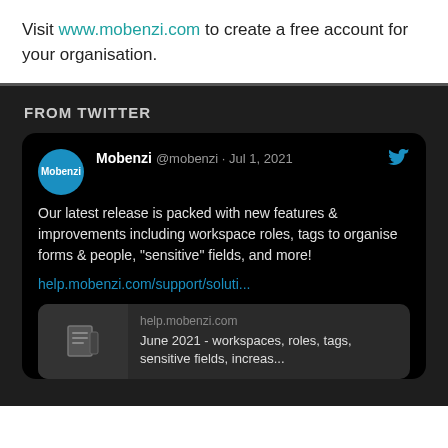Visit www.mobenzi.com to create a free account for your organisation.
FROM TWITTER
[Figure (screenshot): Tweet from @mobenzi dated Jul 1, 2021: 'Our latest release is packed with new features & improvements including workspace roles, tags to organise forms & people, "sensitive" fields, and more!' with a link to help.mobenzi.com/support/soluti... and a link preview card showing help.mobenzi.com and 'June 2021 - workspaces, roles, tags, sensitive fields, increas...']